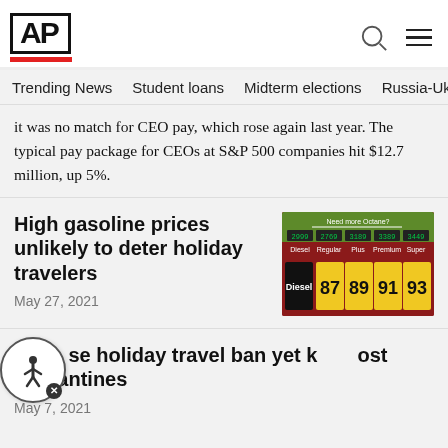AP
Trending News   Student loans   Midterm elections   Russia-Ukr
it was no match for CEO pay, which rose again last year. The typical pay package for CEOs at S&P 500 companies hit $12.7 million, up 5%.
High gasoline prices unlikely to deter holiday travelers
May 27, 2021
[Figure (photo): Gas station price display showing Diesel, Regular (87), Plus (89), Premium (91), and Super (93) fuel prices with digital readouts above showing prices like 2.999, 2.769, 3.189, 3.389, 3.449]
K[…]se holiday travel ban yet k[…]ost quarantines
May 7, 2021